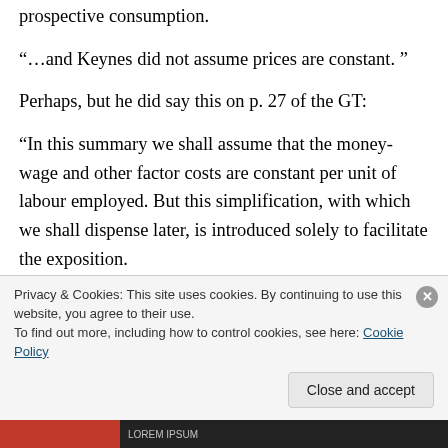prospective consumption.
“…and Keynes did not assume prices are constant. ”
Perhaps, but he did say this on p. 27 of the GT:
“In this summary we shall assume that the money-wage and other factor costs are constant per unit of labour employed. But this simplification, with which we shall dispense later, is introduced solely to facilitate the exposition.
Privacy & Cookies: This site uses cookies. By continuing to use this website, you agree to their use.
To find out more, including how to control cookies, see here: Cookie Policy